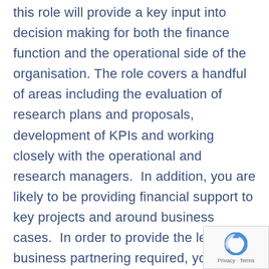this role will provide a key input into decision making for both the finance function and the operational side of the organisation. The role covers a handful of areas including the evaluation of research plans and proposals, development of KPIs and working closely with the operational and research managers.  In addition, you are likely to be providing financial support to key projects and around business cases.  In order to provide the level of business partnering required, you will be liaising with a wide range of people both face to face and over the telephone.